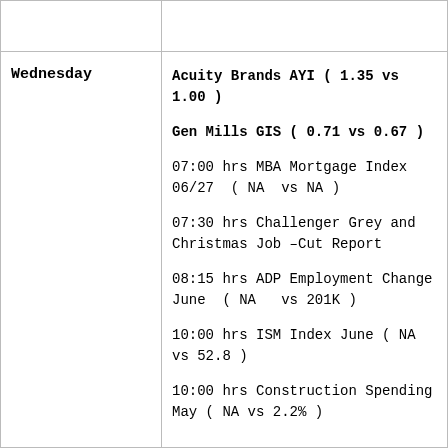| Day | Events |
| --- | --- |
|  |  |
| Wednesday | Acuity Brands AYI ( 1.35 vs 1.00 )
Gen Mills GIS ( 0.71 vs 0.67 )
07:00 hrs MBA Mortgage Index 06/27 ( NA vs NA )
07:30 hrs Challenger Grey and Christmas Job -Cut Report
08:15 hrs ADP Employment Change June ( NA vs 201K )
10:00 hrs ISM Index June ( NA vs 52.8 )
10:00 hrs Construction Spending May ( NA vs 2.2% ) |